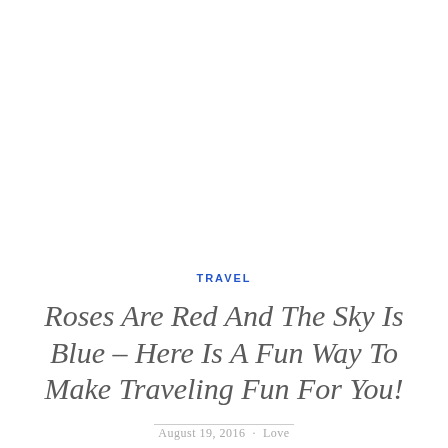TRAVEL
Roses Are Red And The Sky Is Blue – Here Is A Fun Way To Make Traveling Fun For You!
August 19, 2016 · Love